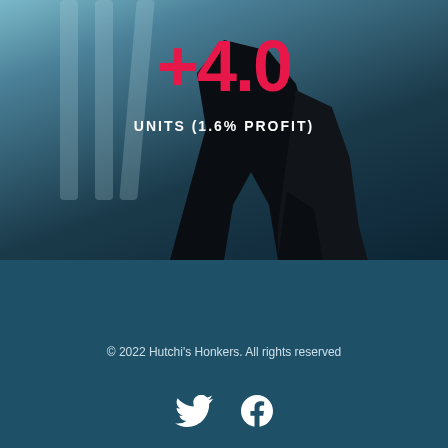[Figure (photo): Dark horse racing on a track, blue-tinted moody background with vertical rails/barriers visible, water droplets in air]
+4.0
UNITS (1.6% PROFIT)
© 2022 Hutchi's Honkers. All rights reserved
[Figure (other): Twitter and Facebook social media icons in white]